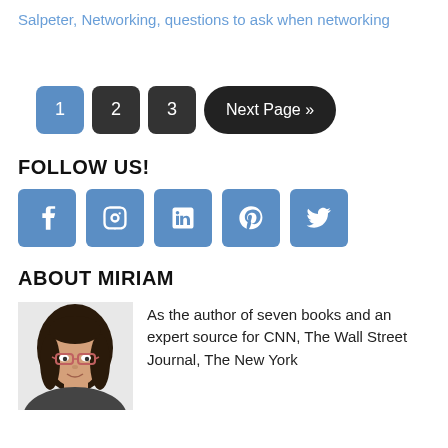Salpeter, Networking, questions to ask when networking
1  2  3  Next Page »
FOLLOW US!
[Figure (infographic): Row of five social media icons: Facebook, Instagram, LinkedIn, Pinterest, Twitter — all in blue rounded square buttons]
ABOUT MIRIAM
[Figure (photo): Portrait photo of Miriam Salpeter, a woman with dark hair and glasses, smiling]
As the author of seven books and an expert source for CNN, The Wall Street Journal, The New York